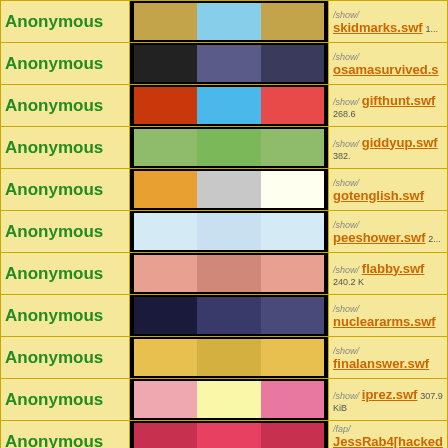| Author | Thumbnails | Info |
| --- | --- | --- |
| Anonymous | [thumbnails] | /show/ skidmarks.swf |
| Anonymous | [thumbnails] | /show/ osamasurvived.s... |
| Anonymous | [thumbnails] | /show/ gifthunt.swf 268.6... |
| Anonymous | [thumbnails] | /show/ giddyup.swf 382.... |
| Anonymous | [thumbnails] | /show/ gotenglish.swf |
| Anonymous | [thumbnails] | /show/ peeshower.swf 2... |
| Anonymous | [thumbnails] | /show/ flabby.swf 240.2 K... |
| Anonymous | [thumbnails] | /show/ nucleararms.swf |
| Anonymous | [thumbnails] | /show/ finalanswer.swf |
| Anonymous | [thumbnails] | /show/ iprez.swf 307.9 KiB |
| Anonymous | [thumbnails] | /fap/ JessRab4[hacked] Jessica Rabbit's Flesh... |
| Ctrl-Z | [thumbnails] | /fap/ ST Unprotected.s... Shadow Transforme... |